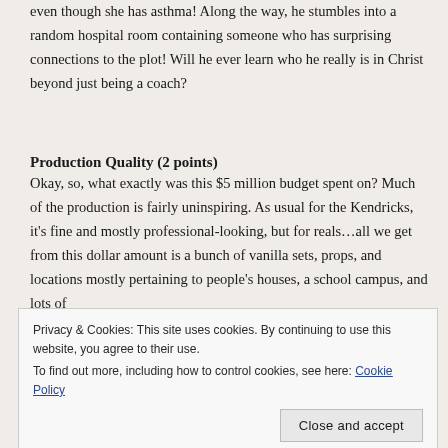even though she has asthma! Along the way, he stumbles into a random hospital room containing someone who has surprising connections to the plot! Will he ever learn who he really is in Christ beyond just being a coach?
Production Quality (2 points)
Okay, so, what exactly was this $5 million budget spent on? Much of the production is fairly uninspiring. As usual for the Kendricks, it’s fine and mostly professional-looking, but for reals…all we get from this dollar amount is a bunch of vanilla sets, props, and locations mostly pertaining to people’s houses, a school campus, and lots of
Privacy & Cookies: This site uses cookies. By continuing to use this website, you agree to their use.
To find out more, including how to control cookies, see here: Cookie Policy
substantial plot content…